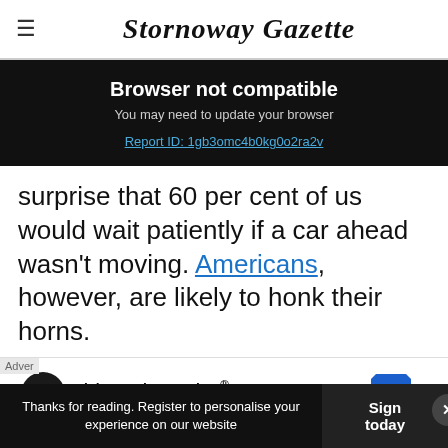≡  Stornoway Gazette
Browser not compatible
You may need to update your browser
Report ID: 1gb3omc4b0kg0o2ra2v
surprise that 60 per cent of us would wait patiently if a car ahead wasn't moving. Americans, however, are likely to honk their horns.
[Figure (other): Advertisement banner: Visit Premium Outlets® / Leesburg Premium Outlets with logo and navigation icon]
Thanks for reading. Register to personalise your experience on our website  |  Sign today